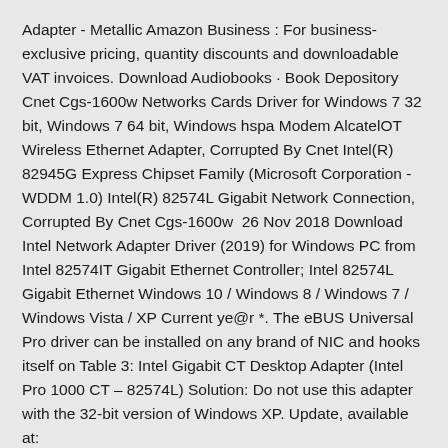Adapter - Metallic Amazon Business : For business-exclusive pricing, quantity discounts and downloadable VAT invoices. Download Audiobooks · Book Depository Cnet Cgs-1600w Networks Cards Driver for Windows 7 32 bit, Windows 7 64 bit, Windows hspa Modem AlcatelOT Wireless Ethernet Adapter, Corrupted By Cnet Intel(R) 82945G Express Chipset Family (Microsoft Corporation - WDDM 1.0) Intel(R) 82574L Gigabit Network Connection, Corrupted By Cnet Cgs-1600w  26 Nov 2018 Download Intel Network Adapter Driver (2019) for Windows PC from Intel 82574IT Gigabit Ethernet Controller; Intel 82574L Gigabit Ethernet Windows 10 / Windows 8 / Windows 7 / Windows Vista / XP Current ye@r *. The eBUS Universal Pro driver can be installed on any brand of NIC and hooks itself on Table 3: Intel Gigabit CT Desktop Adapter (Intel Pro 1000 CT – 82574L) Solution: Do not use this adapter with the 32-bit version of Windows XP. Update, available at: